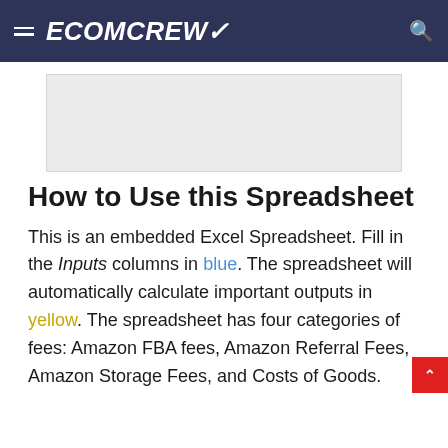ECOMCREW
[Figure (other): Advertisement placeholder block (gray rectangle)]
How to Use this Spreadsheet
This is an embedded Excel Spreadsheet. Fill in the Inputs columns in blue. The spreadsheet will automatically calculate important outputs in yellow. The spreadsheet has four categories of fees: Amazon FBA fees, Amazon Referral Fees, Amazon Storage Fees, and Costs of Goods.